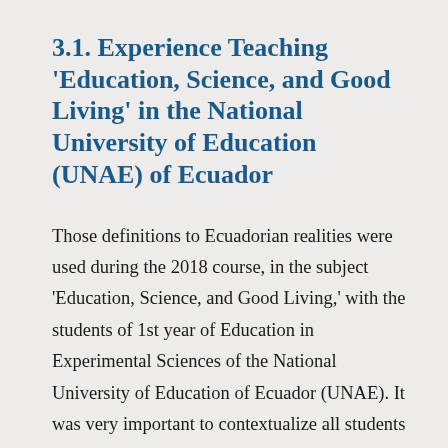3.1. Experience Teaching 'Education, Science, and Good Living' in the National University of Education (UNAE) of Ecuador
Those definitions to Ecuadorian realities were used during the 2018 course, in the subject 'Education, Science, and Good Living,' with the students of 1st year of Education in Experimental Sciences of the National University of Education of Ecuador (UNAE). It was very important to contextualize all students into their complex reality to promote a transdisciplinary vision of Big History. This subject used Big History as theoretical framework to raise environmental awareness in the transversal axis of Environmental